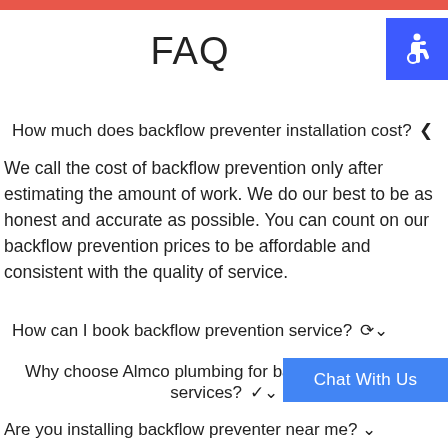FAQ
How much does backflow preventer installation cost? ❮
We call the cost of backflow prevention only after estimating the amount of work. We do our best to be as honest and accurate as possible. You can count on our backflow prevention prices to be affordable and consistent with the quality of service.
How can I book backflow prevention service? ❯
Why choose Almco plumbing for backflow prevention services? ❯
Are you installing backflow preventer near me? ❯